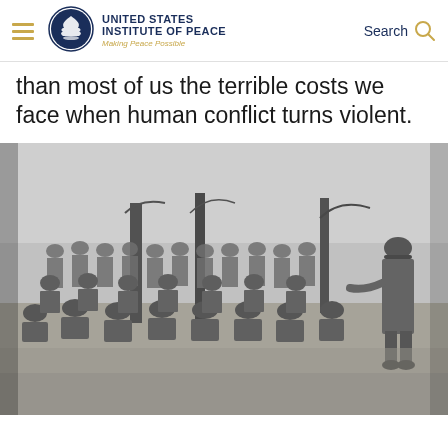United States Institute of Peace — Making Peace Possible — Search
than most of us the terrible costs we face when human conflict turns violent.
[Figure (photo): Black and white photograph of a group of soldiers in helmets and military uniforms sitting on the ground in a field, listening to a standing officer who appears to be addressing them. Trees are visible in the background.]